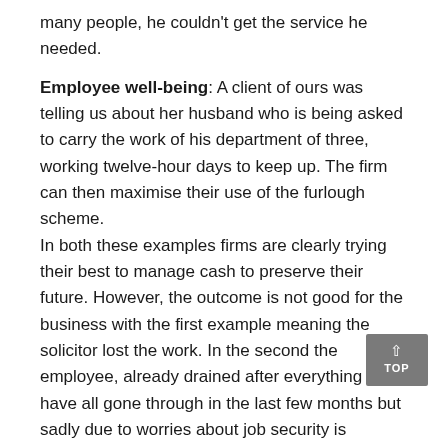many people, he couldn't get the service he needed.
Employee well-being: A client of ours was telling us about her husband who is being asked to carry the work of his department of three, working twelve-hour days to keep up. The firm can then maximise their use of the furlough scheme.
In both these examples firms are clearly trying their best to manage cash to preserve their future. However, the outcome is not good for the business with the first example meaning the solicitor lost the work. In the second the employee, already drained after everything we have all gone through in the last few months but sadly due to worries about job security is expected to accept increased workload.
What can you do to get it right?